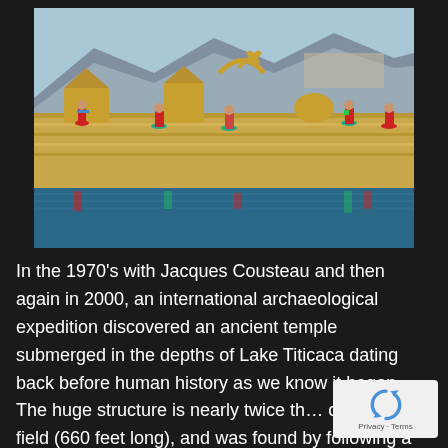[Figure (photo): Colorful scene of Uros floating reed islands on Lake Titicaca, Peru. Women in traditional bright red and teal skirts standing on reed islands with reed huts and boats. Mountains and city visible in background. Blue water in foreground with reflections.]
In the 1970's with Jacques Cousteau and then again in 2000, an international archaeological expedition discovered an ancient temple submerged in the depths of Lake Titicaca dating back before human history as we know it began. The huge structure is nearly twice th… of a soccer field (660 feet long), and was found by following a submerged road that begins near Copacaban…